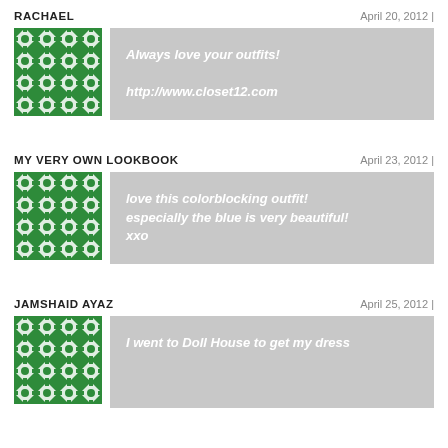RACHAEL
April 20, 2012 |
[Figure (illustration): Green and white geometric pattern avatar for Rachael]
Always love your outfits!

http://www.closet12.com
MY VERY OWN LOOKBOOK
April 23, 2012 |
[Figure (illustration): Green and white geometric pattern avatar for My Very Own Lookbook]
love this colorblocking outfit! especially the blue is very beautiful! xxo
JAMSHAID AYAZ
April 25, 2012 |
[Figure (illustration): Green and white geometric pattern avatar for Jamshaid Ayaz]
I went to Doll House to get my dress